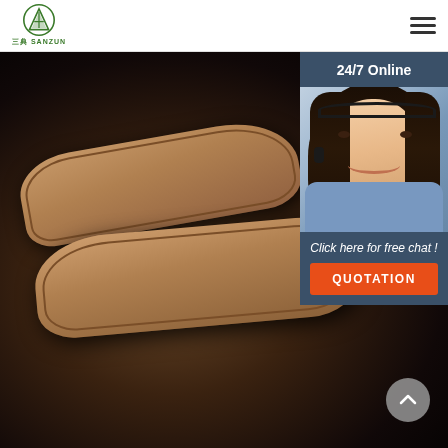三典 SANZUN logo and hamburger menu
[Figure (photo): Product photo of two brown open-toe hotel slippers on a black background, with a 24/7 Online customer service chat widget overlay on the right showing a female customer service agent wearing a headset, with a 'Click here for free chat!' message and QUOTATION button]
24/7 Online
Click here for free chat !
QUOTATION